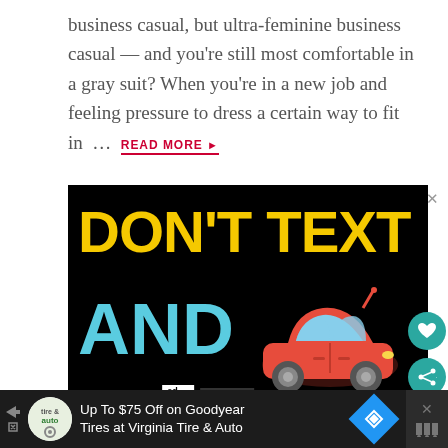business casual, but ultra-feminine business casual — and you're still most comfortable in a gray suit? When you're in a new job and feeling pressure to dress a certain way to fit in … READ MORE ▸
[Figure (screenshot): Advertisement: Black background with large yellow bold text 'DON'T TEXT', large cyan bold text 'AND', a red cartoon car emoji, and logos for Ad Council and NHTSA at the bottom.]
[Figure (screenshot): Bottom banner advertisement: Dark background with play/close arrows, Tire & Auto logo, text 'Up To $75 Off on Goodyear Tires at Virginia Tire & Auto', blue diamond arrow icon, and X close button.]